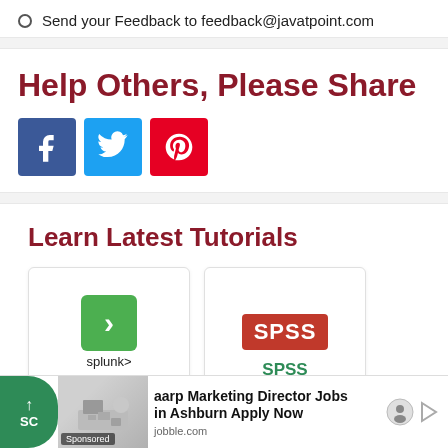Send your Feedback to feedback@javatpoint.com
Help Others, Please Share
[Figure (infographic): Social media share buttons: Facebook (blue), Twitter (light blue), Pinterest (red)]
Learn Latest Tutorials
[Figure (infographic): Tutorial card for Splunk with green arrow logo and Splunk label]
[Figure (infographic): Tutorial card for SPSS with red SPSS logo and SPSS label]
aarp Marketing Director Jobs in Ashburn Apply Now
jobble.com